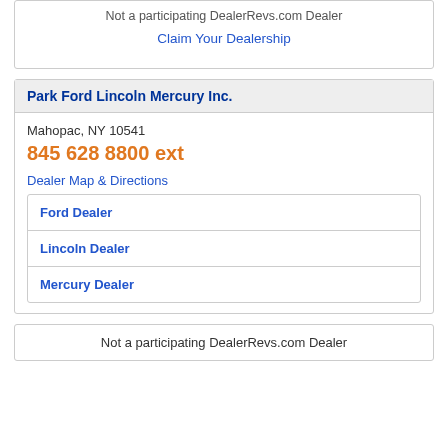Not a participating DealerRevs.com Dealer
Claim Your Dealership
Park Ford Lincoln Mercury Inc.
Mahopac, NY 10541
845 628 8800 ext
Dealer Map & Directions
Ford Dealer
Lincoln Dealer
Mercury Dealer
Not a participating DealerRevs.com Dealer